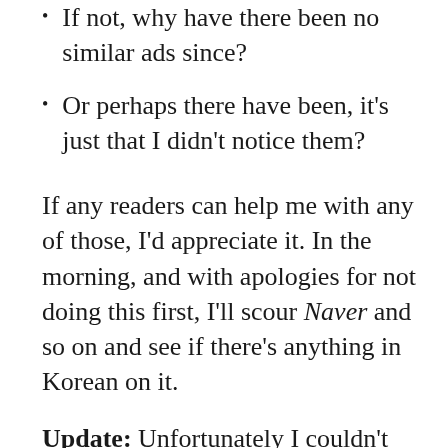If not, why have there been no similar ads since?
Or perhaps there have been, it's just that I didn't notice them?
If any readers can help me with any of those, I'd appreciate it. In the morning, and with apologies for not doing this first, I'll scour Naver and so on and see if there's anything in Korean on it.
Update: Unfortunately I couldn't find anything at all about this ad in Korea, either at Naver or Yahoo! Korea, and which makes me wonder if it was actually released or not?